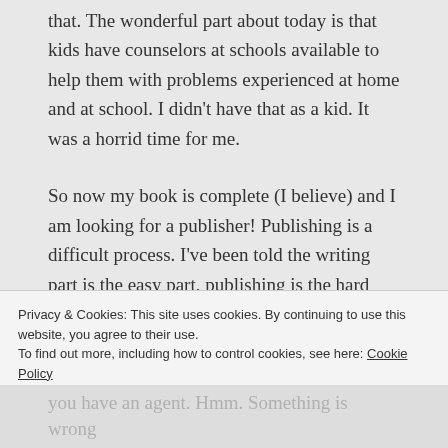that. The wonderful part about today is that kids have counselors at schools available to help them with problems experienced at home and at school. I didn't have that as a kid. It was a horrid time for me.
So now my book is complete (I believe) and I am looking for a publisher! Publishing is a difficult process. I've been told the writing part is the easy part, publishing is the hard part. Therefore, do I self-publish? Do I find an agent? I've heard
Privacy & Cookies: This site uses cookies. By continuing to use this website, you agree to their use.
To find out more, including how to control cookies, see here: Cookie Policy
Close and accept
you have an agent. Hmm. Something is wrong